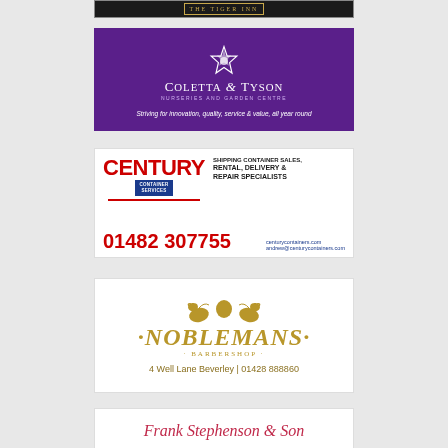[Figure (logo): The Tiger Inn advertisement - dark background with gold text in a border]
[Figure (logo): Coletta & Tyson Nurseries and Garden Centre - purple background with white rose emblem and text: Striving for innovation, quality, service & value, all year round]
[Figure (logo): Century Container Services - Shipping Container Sales, Rental, Delivery & Repair Specialists. Phone: 01482 307755. centurycontainers.com, andrew@centurycontainers.com]
[Figure (logo): Noblemans Barbershop - 4 Well Lane Beverley | 01428 888860]
[Figure (logo): Frank Stephenson & Son - partial advertisement visible at bottom]